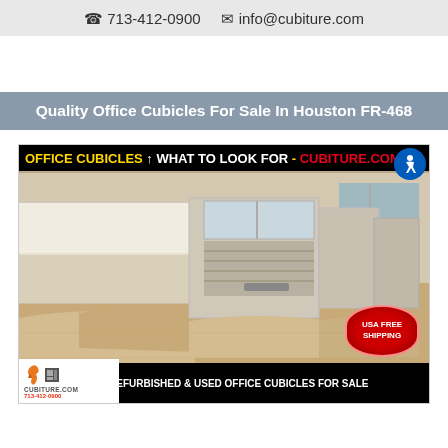☎ 713-412-0900   ✉ info@cubiture.com
Quality Office Cubicles For Sale In Houston FR-468
[Figure (photo): Office cubicles showroom photo with banner overlay reading 'OFFICE CUBICLES ↑ WHAT TO LOOK FOR - CUBITURE.COM', cubicle workstations with tan/beige panels, USA FREE SHIPPING badge, and bottom banner 'NEW - REFURBISHED & USED OFFICE CUBICLES FOR SALE']